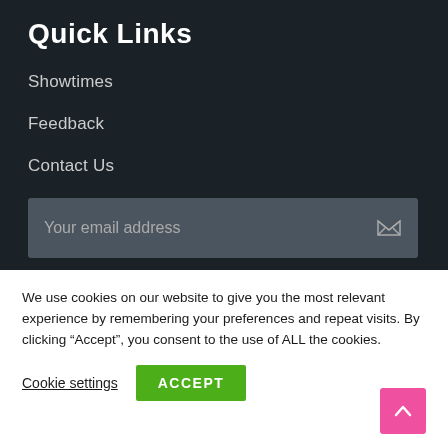Quick Links
Showtimes
Feedback
Contact Us
Your email address
We use cookies on our website to give you the most relevant experience by remembering your preferences and repeat visits. By clicking “Accept”, you consent to the use of ALL the cookies.
Cookie settings
ACCEPT